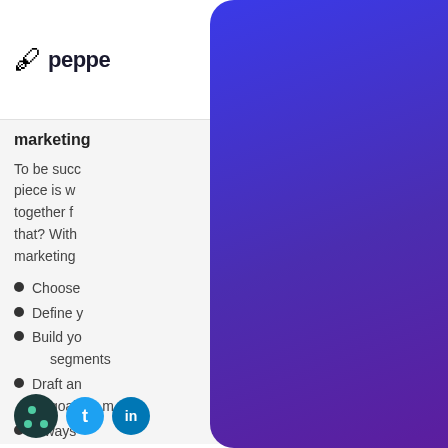peppe
marketing
To be succ piece is w together f that? With marketing
Choose
Define y
Build yo segments
Draft an goals in m
Always
[Figure (other): Large purple-to-indigo gradient card overlay covering the right portion of the page]
[Figure (logo): Pepper content platform logo with ink bottle icon and social media icons at bottom]